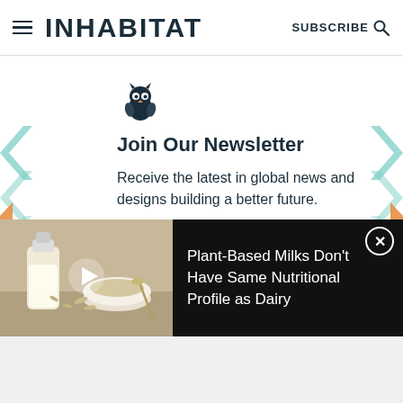INHABITAT | SUBSCRIBE
[Figure (illustration): Owl logo icon for newsletter signup]
Join Our Newsletter
Receive the latest in global news and designs building a better future.
[Figure (screenshot): Email address input field]
[Figure (photo): Video thumbnail showing plant-based milk (oat milk bottle and bowl of oats) with play button]
Plant-Based Milks Don't Have Same Nutritional Profile as Dairy